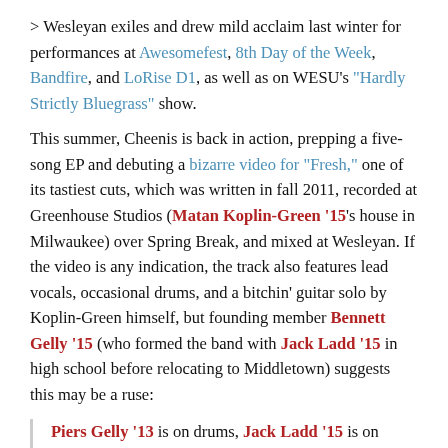> Wesleyan exiles and drew mild acclaim last winter for performances at Awesomefest, 8th Day of the Week, Bandfire, and LoRise D1, as well as on WESU's "Hardly Strictly Bluegrass" show.
This summer, Cheenis is back in action, prepping a five-song EP and debuting a bizarre video for "Fresh," one of its tastiest cuts, which was written in fall 2011, recorded at Greenhouse Studios (Matan Koplin-Green '15's house in Milwaukee) over Spring Break, and mixed at Wesleyan. If the video is any indication, the track also features lead vocals, occasional drums, and a bitchin' guitar solo by Koplin-Green himself, but founding member Bennett Gelly '15 (who formed the band with Jack Ladd '15 in high school before relocating to Middletown) suggests this may be a ruse:
Piers Gelly '13 is on drums, Jack Ladd '15 is on vocals, Matan Koplin-Green '15 is on bass, and I am on guitar as well as Jack and Matan at points. Backups are sung by Matan. Mixed and produced by